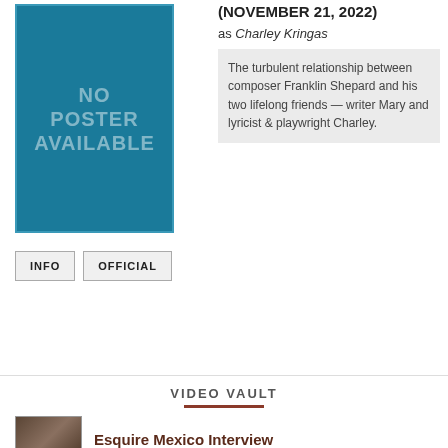[Figure (other): No poster available placeholder image — teal/blue background with text 'NO POSTER AVAILABLE']
(NOVEMBER 21, 2022)
as Charley Kringas
The turbulent relationship between composer Franklin Shepard and his two lifelong friends — writer Mary and lyricist & playwright Charley.
INFO
OFFICIAL
VIDEO VAULT
Esquire Mexico Interview